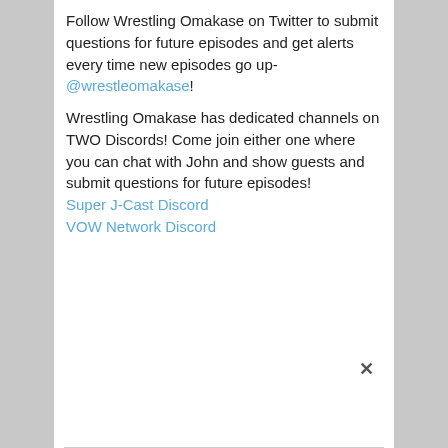Follow Wrestling Omakase on Twitter to submit questions for future episodes and get alerts every time new episodes go up- @wrestleomakase!
Wrestling Omakase has dedicated channels on TWO Discords! Come join either one where you can chat with John and show guests and submit questions for future episodes! Super J-Cast Discord VOW Network Discord